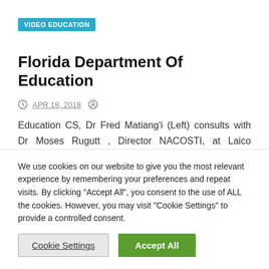VIDEO EDUCATION
Florida Department Of Education
APR 18, 2018
Education CS, Dr Fred Matiang'i (Left) consults with Dr Moses Rugutt , Director NACOSTI, at Laico Regency Hotel Nairobi for the duration of the official opening of Science, Technologies and…
We use cookies on our website to give you the most relevant experience by remembering your preferences and repeat visits. By clicking "Accept All", you consent to the use of ALL the cookies. However, you may visit "Cookie Settings" to provide a controlled consent.